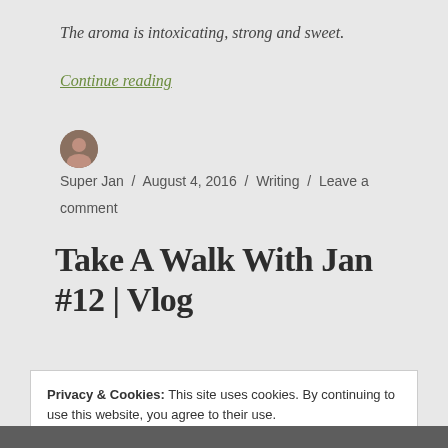The aroma is intoxicating, strong and sweet.
Continue reading
Super Jan / August 4, 2016 / Writing / Leave a comment
Take A Walk With Jan #12 | Vlog
Privacy & Cookies: This site uses cookies. By continuing to use this website, you agree to their use. To find out more, including how to control cookies, see here: Cookie Policy
Close and accept
[Figure (photo): Partial photo strip visible at bottom of page]